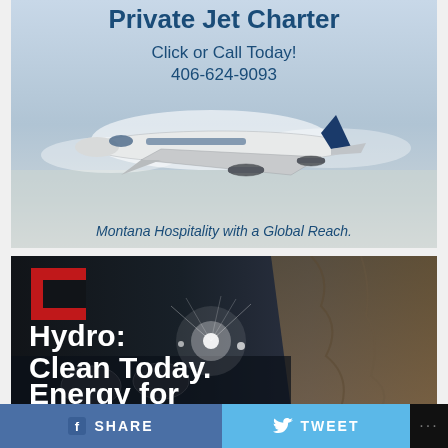[Figure (photo): Private jet charter advertisement with a business jet flying against a blue sky. Text reads 'Private Jet Charter', 'Click or Call Today!', '406-624-9093', 'Montana Hospitality with a Global Reach.']
[Figure (photo): Hydro energy advertisement with dark underground hydroelectric plant background. Red angular logo in top left. Text reads 'Hydro: Clean Today. Energy for [continued below]']
SHARE   TWEET   ...